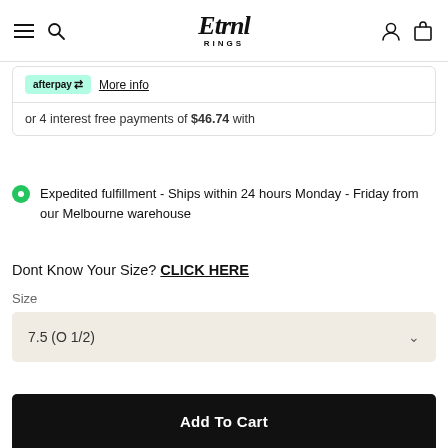Etrnl RINGS
afterpay  More info
or 4 interest free payments of $46.74 with
Expedited fulfillment - Ships within 24 hours Monday - Friday from our Melbourne warehouse
Dont Know Your Size? CLICK HERE
Size
7.5 (O 1/2)
Add To Cart